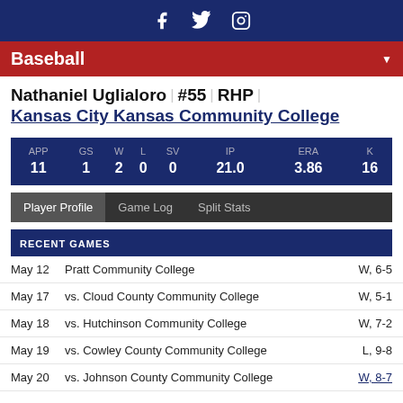Social media icons: Facebook, Twitter, Instagram
Baseball
Nathaniel Uglialoro | #55 | RHP | Kansas City Kansas Community College
| APP | GS | W | L | SV | IP | ERA | K |
| --- | --- | --- | --- | --- | --- | --- | --- |
| 11 | 1 | 2 | 0 | 0 | 21.0 | 3.86 | 16 |
Player Profile | Game Log | Split Stats
RECENT GAMES
May 12  Pratt Community College  W, 6-5
May 17  vs. Cloud County Community College  W, 5-1
May 18  vs. Hutchinson Community College  W, 7-2
May 19  vs. Cowley County Community College  L, 9-8
May 20  vs. Johnson County Community College  W, 8-7